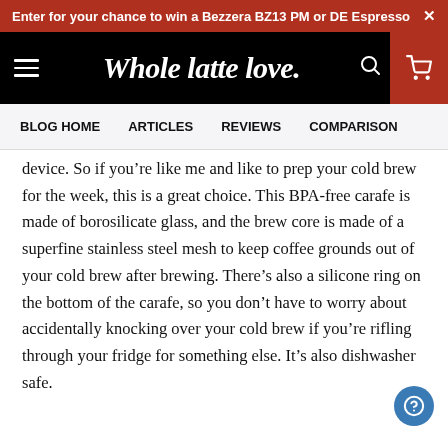Enter for your chance to win a Bezzera BZ13 PM or DE Espresso ×
Whole latte love.
BLOG HOME   ARTICLES   REVIEWS   COMPARISON
device. So if you're like me and like to prep your cold brew for the week, this is a great choice. This BPA-free carafe is made of borosilicate glass, and the brew core is made of a superfine stainless steel mesh to keep coffee grounds out of your cold brew after brewing. There's also a silicone ring on the bottom of the carafe, so you don't have to worry about accidentally knocking over your cold brew if you're rifling through your fridge for something else. It's also dishwasher safe.